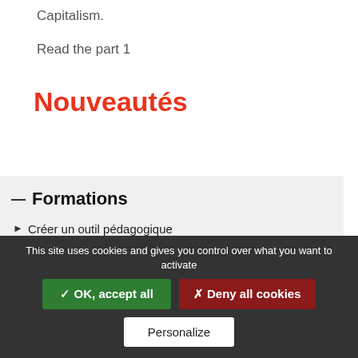Capitalism.
Read the part 1
Nouveautés
— Formations
Créer un outil pédagogique
Du 28 au 29 septembre - Paris
Communiquer et mobiliser pour son association sur
This site uses cookies and gives you control over what you want to activate
✓ OK, accept all
✗ Deny all cookies
Personalize